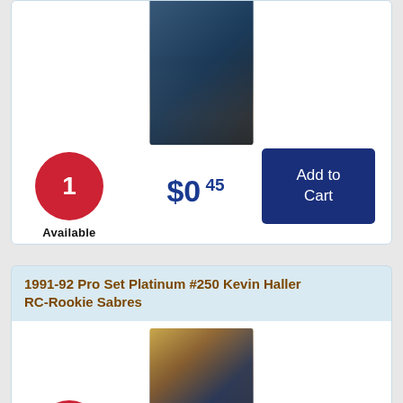[Figure (photo): Hockey player photo on trading card - top card]
1 Available
$0.45
Add to Cart
1991-92 Pro Set Platinum #250 Kevin Haller RC-Rookie Sabres
[Figure (photo): Hockey player photo on trading card - bottom card (Kevin Haller, Sabres)]